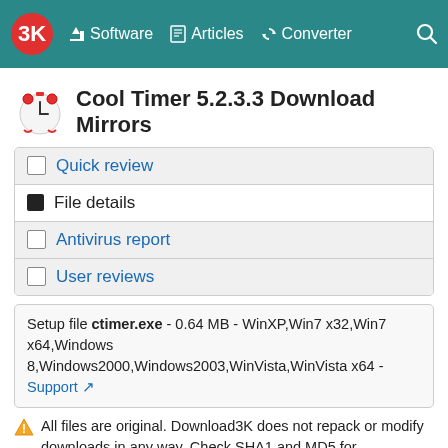3K  Software  Articles  Converter  Search
Cool Timer 5.2.3.3 Download Mirrors
Quick review
File details
Antivirus report
User reviews
Setup file ctimer.exe - 0.64 MB - WinXP,Win7 x32,Win7 x64,Windows 8,Windows2000,Windows2003,WinVista,WinVista x64 - Support
All files are original. Download3K does not repack or modify downloads in any way. Check SHA1 and MD5 for confirmation.
Select a download mirror:
Developer Link 1 (non https ctimer.exe)
Visit Developer's Support Page where you can get help with